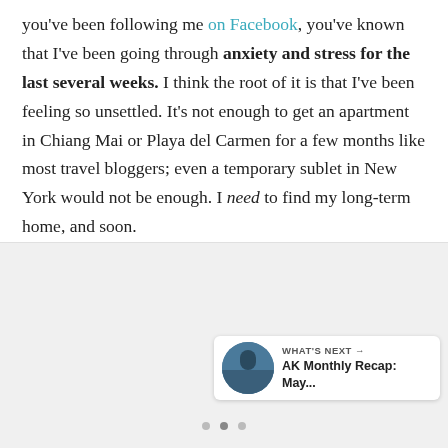you've been following me on Facebook, you've known that I've been going through anxiety and stress for the last several weeks. I think the root of it is that I've been feeling so unsettled. It's not enough to get an apartment in Chiang Mai or Playa del Carmen for a few months like most travel bloggers; even a temporary sublet in New York would not be enough. I need to find my long-term home, and soon.
[Figure (photo): Gray placeholder image area with UI overlay elements including a teal heart/like button, share button, and a What's Next navigation card showing AK Monthly Recap: May...]